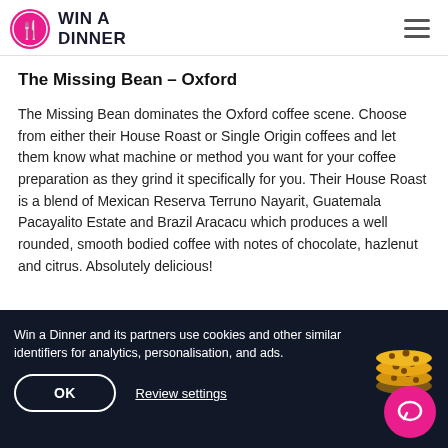Win a Dinner
The Missing Bean – Oxford
The Missing Bean dominates the Oxford coffee scene. Choose from either their House Roast or Single Origin coffees and let them know what machine or method you want for your coffee preparation as they grind it specifically for you. Their House Roast is a blend of Mexican Reserva Terruno Nayarit, Guatemala Pacayalito Estate and Brazil Aracacu which produces a well rounded, smooth bodied coffee with notes of chocolate, hazlenut and citrus. Absolutely delicious!
Win a Dinner and its partners use cookies and other similar identifiers for analytics, personalisation, and ads.
OK
Review settings